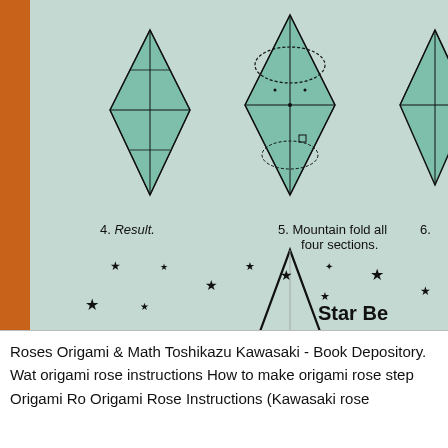[Figure (illustration): Origami instruction diagram showing steps 4, 5, and 6 of folding a star box. Step 4 shows 'Result' – a folded origami diamond shape in green. Step 5 shows 'Mountain fold all four sections' with fold arrows. Step 6 shows another folded step. Below is a large origami star shape with scattered star decorations and partial text 'Star Be...' in the bottom right. A physical orange book spine is visible on the left edge.]
4. Result.    5. Mountain fold all four sections.    6.
Roses Origami & Math Toshikazu Kawasaki - Book Depository. Wat origami rose instructions How to make origami rose step Origami Ro Origami Rose Instructions (Kawasaki rose